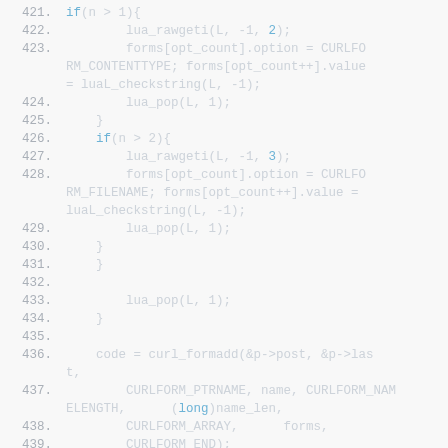421.     if(n > 1){
422.         lua_rawgeti(L, -1, 2);
423.         forms[opt_count].option = CURLFORM_CONTENTTYPE; forms[opt_count++].value = luaL_checkstring(L, -1);
424.         lua_pop(L, 1);
425.     }
426.     if(n > 2){
427.         lua_rawgeti(L, -1, 3);
428.         forms[opt_count].option = CURLFORM_FILENAME; forms[opt_count++].value = luaL_checkstring(L, -1);
429.         lua_pop(L, 1);
430.     }
431. }
432.
433.     lua_pop(L, 1);
434. }
435.
436.     code = curl_formadd(&p->post, &p->last,
437.         CURLFORM_PTRNAME, name, CURLFORM_NAMELENGTH, (long)name_len,
438.         CURLFORM_ARRAY, forms,
439.         CURLFORM_END);